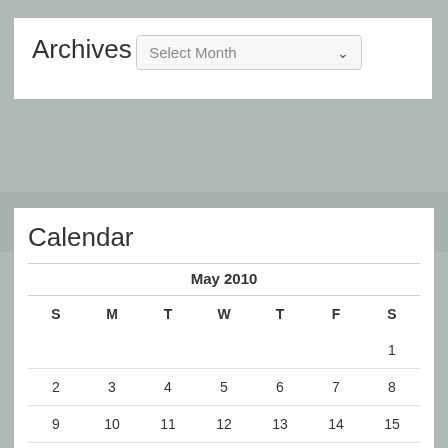Archives
Select Month
Calendar
| S | M | T | W | T | F | S |
| --- | --- | --- | --- | --- | --- | --- |
|  |  |  |  |  |  | 1 |
| 2 | 3 | 4 | 5 | 6 | 7 | 8 |
| 9 | 10 | 11 | 12 | 13 | 14 | 15 |
| 16 | 17 | 18 | 19 | 20 | 21 | 22 |